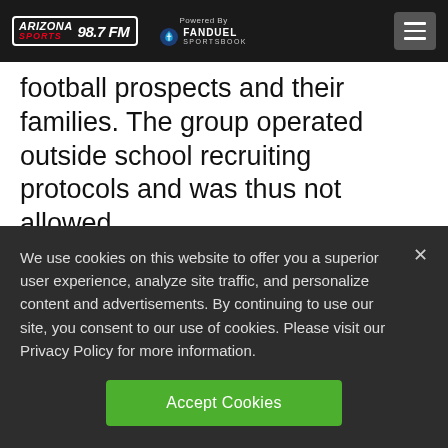Arizona Sports 98.7 FM — Powered By FanDuel Sportsbook
football prospects and their families. The group operated outside school recruiting protocols and was thus not allowed.
Universities have been on notice since 2004 that the use of gender-based groups is
We use cookies on this website to offer you a superior user experience, analyze site traffic, and personalize content and advertisements. By continuing to use our site, you consent to our use of cookies. Please visit our Privacy Policy for more information.
Accept Cookies